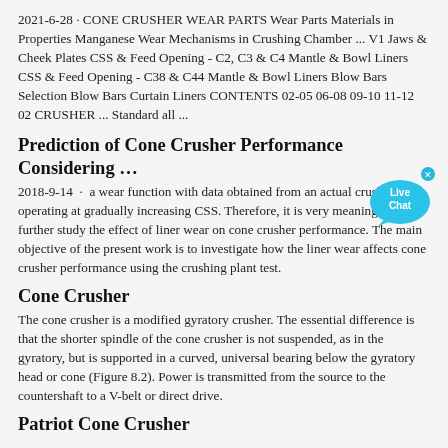2021-6-28 · CONE CRUSHER WEAR PARTS Wear Parts Materials in Properties Manganese Wear Mechanisms in Crushing Chamber ... V1 Jaws & Cheek Plates CSS & Feed Opening - C2, C3 & C4 Mantle & Bowl Liners CSS & Feed Opening - C38 & C44 Mantle & Bowl Liners Blow Bars Selection Blow Bars Curtain Liners CONTENTS 02-05 06-08 09-10 11-12 02 CRUSHER ... Standard all ...
Prediction of Cone Crusher Performance Considering …
2018-9-14 · a wear function with data obtained from an actual crusher operating at gradually increasing CSS. Therefore, it is very meaningful to further study the effect of liner wear on cone crusher performance. The main objective of the present work is to investigate how the liner wear affects cone crusher performance using the crushing plant test.
Cone Crusher
The cone crusher is a modified gyratory crusher. The essential difference is that the shorter spindle of the cone crusher is not suspended, as in the gyratory, but is supported in a curved, universal bearing below the gyratory head or cone (Figure 8.2). Power is transmitted from the source to the countershaft to a V-belt or direct drive.
Patriot Cone Crusher